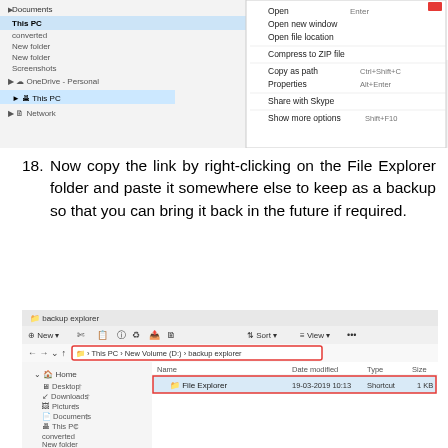[Figure (screenshot): Windows File Explorer context menu showing right-click options including Open, Open new window, Open file location, Compress to ZIP file, Copy as path (Ctrl+Shift+C), Properties (Alt+Enter), Share with Skype, Show more options (Shift+F10)]
18. Now copy the link by right-clicking on the File Explorer folder and paste it somewhere else to keep as a backup so that you can bring it back in the future if required.
[Figure (screenshot): Windows File Explorer window showing 'backup explorer' folder with File Explorer shortcut file dated 19-03-2019 10:13, type Shortcut, size 1 KB. The breadcrumb path shows This PC > New Volume (D:) > backup explorer highlighted in red. The File Explorer row is also highlighted with a red border.]